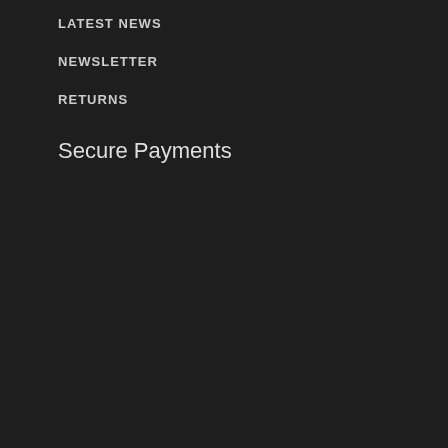LATEST NEWS
NEWSLETTER
RETURNS
Secure Payments